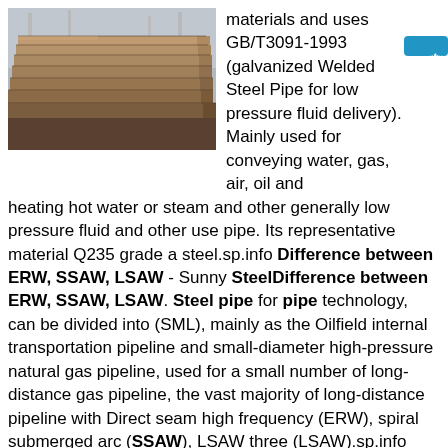[Figure (photo): Stack of steel plates/sheets in an industrial setting, photographed outdoors.]
materials and uses GB/T3091-1993 (galvanized Welded Steel Pipe for low pressure fluid delivery). Mainly used for conveying water, gas, air, oil and heating hot water or steam and other generally low pressure fluid and other use pipe. Its representative material Q235 grade a steel.sp.info Difference between ERW, SSAW, LSAW - Sunny SteelDifference between ERW, SSAW, LSAW. Steel pipe for pipe technology, can be divided into (SML), mainly as the Oilfield internal transportation pipeline and small-diameter high-pressure natural gas pipeline, used for a small number of long-distance gas pipeline, the vast majority of long-distance pipeline with Direct seam high frequency (ERW), spiral submerged arc (SSAW), LSAW three (LSAW).sp.info SSAW pipes, Steel blog-Steel tube and pipe solutionsSSAW pipe is made of hot rolled coiled steel by